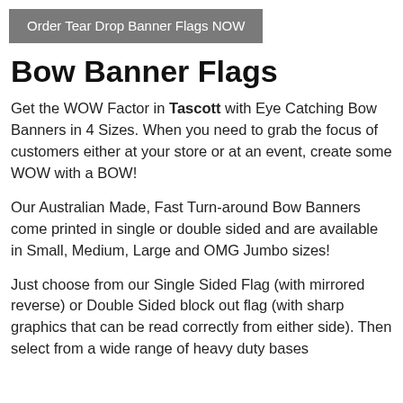[Figure (other): Grey button/banner with text: Order Tear Drop Banner Flags NOW]
Bow Banner Flags
Get the WOW Factor in Tascott with Eye Catching Bow Banners in 4 Sizes. When you need to grab the focus of customers either at your store or at an event, create some WOW with a BOW!
Our Australian Made, Fast Turn-around Bow Banners come printed in single or double sided and are available in Small, Medium, Large and OMG Jumbo sizes!
Just choose from our Single Sided Flag (with mirrored reverse) or Double Sided block out flag (with sharp graphics that can be read correctly from either side). Then select from a wide range of heavy duty bases